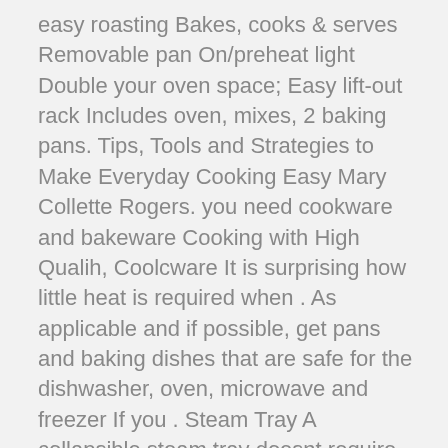easy roasting Bakes, cooks & serves Removable pan On/preheat light Double your oven space; Easy lift-out rack Includes oven, mixes, 2 baking pans. Tips, Tools and Strategies to Make Everyday Cooking Easy Mary Collette Rogers. you need cookware and bakeware Cooking with High Qualih, Coolcware It is surprising how little heat is required when . As applicable and if possible, get pans and baking dishes that are safe for the dishwasher, oven, microwave and freezer If you . Steam Tray A collapsible steam tray doesnt require much storage space, can be washed in the dishwasher and can be used in any pot or pan with a lid. Shop for easy bake oven utensils online at Target. Free shipping on . Melissa & Doug 22-Piece Play Kitchen Accessories Set Utensils, Pot and Lid, Pans, Play Food Melissa & Doug Trudeau 2-in-1 Silicone Small